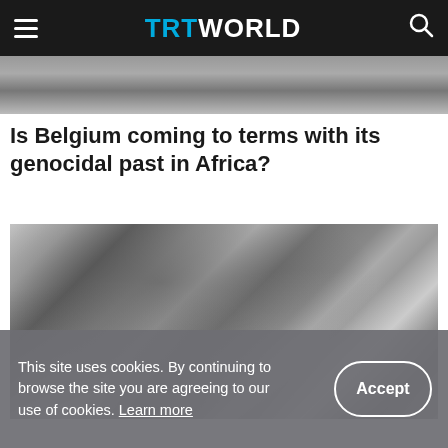TRT WORLD
[Figure (photo): Partial black and white photo strip at top of page showing people]
Is Belgium coming to terms with its genocidal past in Africa?
[Figure (photo): Black and white historical photograph showing soldiers and African men, depicting a scene related to Belgian colonial history in Africa]
This site uses cookies. By continuing to browse the site you are agreeing to our use of cookies. Learn more